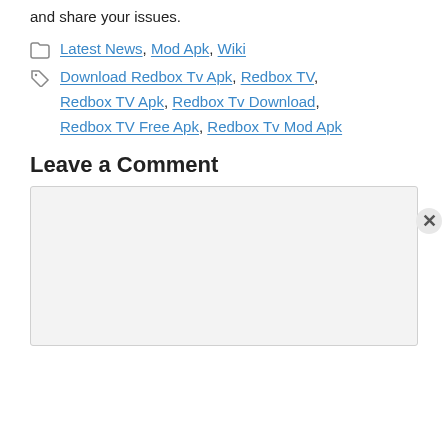and share your issues.
Categories: Latest News, Mod Apk, Wiki
Tags: Download Redbox Tv Apk, Redbox TV, Redbox TV Apk, Redbox Tv Download, Redbox TV Free Apk, Redbox Tv Mod Apk
Leave a Comment
[Figure (other): Comment text area input box, unfilled, light grey background]